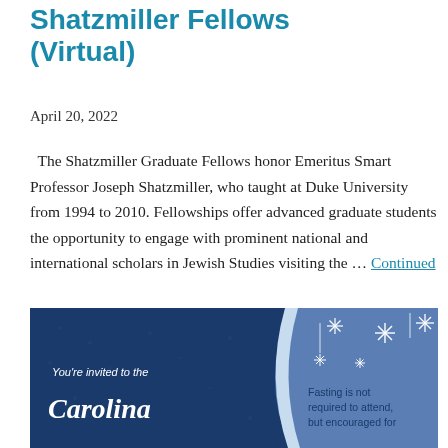Shatzmiller Fellows (Virtual)
April 20, 2022
The Shatzmiller Graduate Fellows honor Emeritus Smart Professor Joseph Shatzmiller, who taught at Duke University from 1994 to 2010. Fellowships offer advanced graduate students the opportunity to engage with prominent national and international scholars in Jewish Studies visiting the … Continued
[Figure (illustration): Invitation card with dark blue background on left side and light blue background on right side. Stars and crescent moon decorations on the light blue area. Text on dark blue: 'You're invited to the' and 'Carolina' in stylized script. Text on light blue: 'Fasting is not required to attend, but encouraged for']